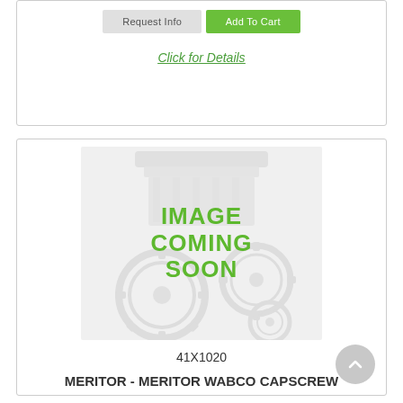Request Info | Add To Cart
Click for Details
[Figure (photo): Placeholder image showing mechanical gears and piston with text IMAGE COMING SOON overlaid in green]
41X1020
MERITOR - MERITOR WABCO CAPSCREW